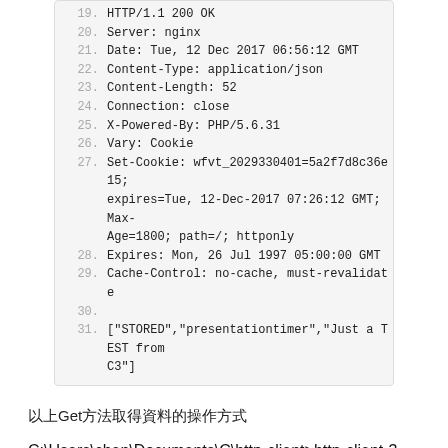[Figure (screenshot): Code block showing HTTP response headers and body, lines 19-31. Line 19: HTTP/1.1 200 OK, Line 20: Server: nginx, Line 21: Date: Tue, 12 Dec 2017 06:56:12 GMT, Line 22: Content-Type: application/json, Line 23: Content-Length: 52, Line 24: Connection: close, Line 25: X-Powered-By: PHP/5.6.31, Line 26: Vary: Cookie, Line 27: Set-Cookie: wfvt_2029330401=5a2f7d8c36e15; expires=Tue, 12-Dec-2017 07:26:12 GMT; Max-Age=1800; path=/; httponly, Line 28: Expires: Mon, 26 Jul 1997 05:00:00 GMT, Line 29: Cache-Control: no-cache, must-revalidate, Line 30: (empty), Line 31: ["STORED","presentationtimer","Just a TEST from C3"]]
以上Get方法取得資料的操作方式
C:\Users\chen\Documents\C\http-client>http-client-3 tinydb.work 80 POST /api/getvalue/ "tag=presentationtimer"